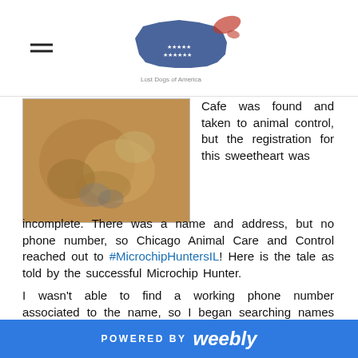Lost Dogs of America logo with hamburger menu
[Figure (photo): Close-up photo of a dog's paws or fur area, golden/tan colored]
Cafe was found and taken to animal control, but the registration for this sweetheart was incomplete. There was a name and address, but no phone number, so Chicago Animal Care and Control reached out to #MicrochipHuntersIL! Here is the tale as told by the successful Microchip Hunter.
I wasn't able to find a working phone number associated to the name, so I began searching names associated to the registered address the microchip company gave to me. I was able to reach the owner's
POWERED BY weebly